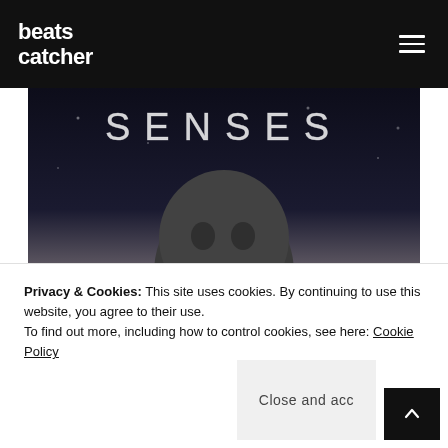beats catcher
[Figure (photo): Album cover art showing the word 'SENSES' in stylized text over a dark atmospheric scene with a stone or rock face/skull-like figure against a snowy or misty landscape background.]
Privacy & Cookies: This site uses cookies. By continuing to use this website, you agree to their use.
To find out more, including how to control cookies, see here: Cookie Policy
Close and accept